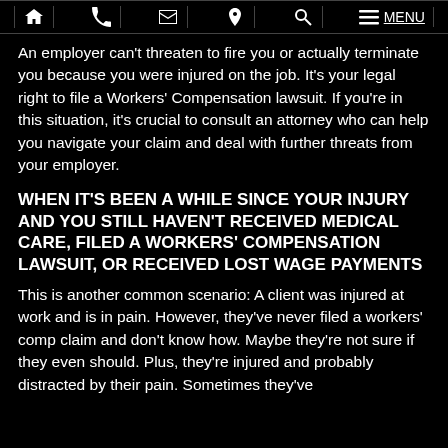Home | Phone | Email | Location | Search | Menu
An employer can't threaten to fire you or actually terminate you because you were injured on the job. It's your legal right to file a Workers' Compensation lawsuit. If you're in this situation, it's crucial to consult an attorney who can help you navigate your claim and deal with further threats from your employer.
WHEN IT'S BEEN A WHILE SINCE YOUR INJURY AND YOU STILL HAVEN'T RECEIVED MEDICAL CARE, FILED A WORKERS' COMPENSATION LAWSUIT, OR RECEIVED LOST WAGE PAYMENTS
This is another common scenario: A client was injured at work and is in pain. However, they've never filed a workers' comp claim and don't know how. Maybe they're not sure if they even should. Plus, they're injured and probably distracted by their pain. Sometimes they've